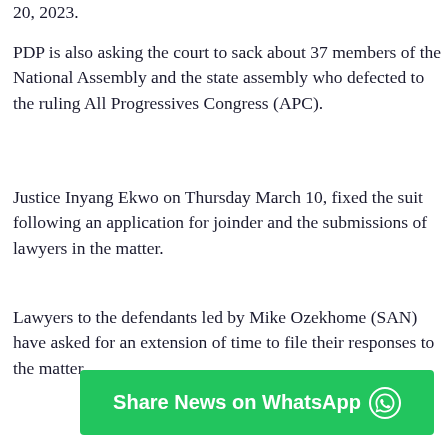20, 2023.
PDP is also asking the court to sack about 37 members of the National Assembly and the state assembly who defected to the ruling All Progressives Congress (APC).
Justice Inyang Ekwo on Thursday March 10, fixed the suit following an application for joinder and the submissions of lawyers in the matter.
Lawyers to the defendants led by Mike Ozekhome (SAN) have asked for an extension of time to file their responses to the matter.
[Figure (other): Green WhatsApp share button with text 'Share News on WhatsApp' and WhatsApp logo icon]